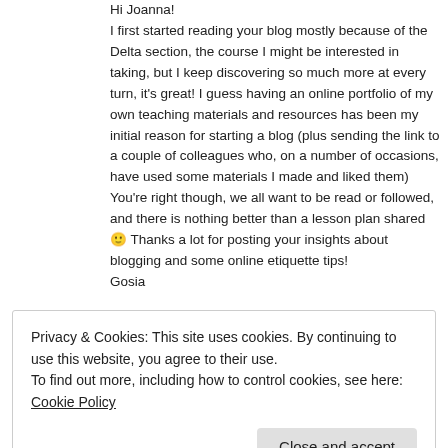Hi Joanna!
I first started reading your blog mostly because of the Delta section, the course I might be interested in taking, but I keep discovering so much more at every turn, it's great! I guess having an online portfolio of my own teaching materials and resources has been my initial reason for starting a blog (plus sending the link to a couple of colleagues who, on a number of occasions, have used some materials I made and liked them) You're right though, we all want to be read or followed, and there is nothing better than a lesson plan shared 🙂 Thanks a lot for posting your insights about blogging and some online etiquette tips!
Gosia
★ Like
Privacy & Cookies: This site uses cookies. By continuing to use this website, you agree to their use.
To find out more, including how to control cookies, see here: Cookie Policy
Close and accept
Hi Gosia!!